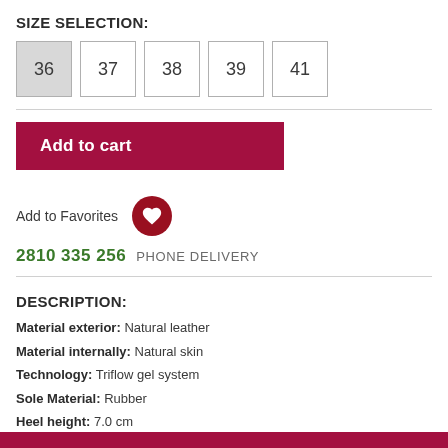SIZE SELECTION:
36  37  38  39  41
Add to cart
Add to Favorites
2810 335 256  PHONE DELIVERY
DESCRIPTION:
Material exterior: Natural leather
Material internally: Natural skin
Technology: Triflow gel system
Sole Material: Rubber
Heel height: 7.0 cm
Form: Normal
Country of origin: Spain